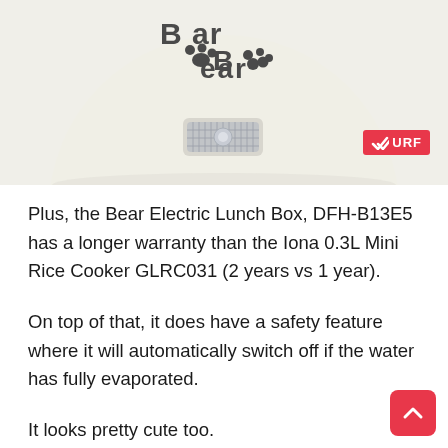[Figure (photo): Top portion of a Bear Electric Lunch Box / mini rice cooker in cream/white color, showing the top dome with 'Bear' logo (with paw print icon) and a transparent window/button on the front. A red badge with checkmark and 'URF' text is visible in the top-right area.]
Plus, the Bear Electric Lunch Box, DFH-B13E5 has a longer warranty than the Iona 0.3L Mini Rice Cooker GLRC031 (2 years vs 1 year).
On top of that, it does have a safety feature where it will automatically switch off if the water has fully evaporated.
It looks pretty cute too.